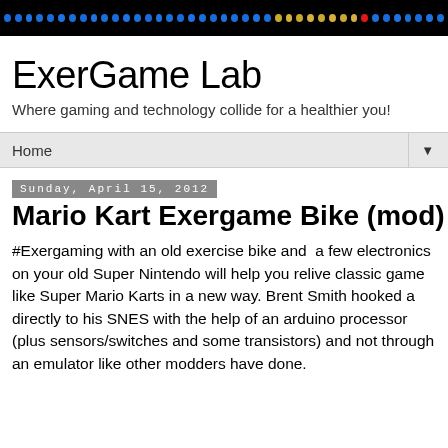[Figure (other): Decorative header banner with colorful LED-style dots on black background]
ExerGame Lab
Where gaming and technology collide for a healthier you!
Home ▼
Sunday, April 15, 2012
Mario Kart Exergame Bike (mod)
#Exergaming with an old exercise bike and  a few electronics on your old Super Nintendo will help you relive classic game like Super Mario Karts in a new way. Brent Smith hooked a directly to his SNES with the help of an arduino processor (plus sensors/switches and some transistors) and not through an emulator like other modders have done.